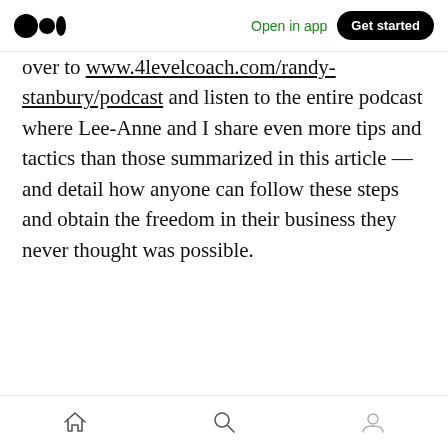Medium app navigation bar with logo, Open in app, Get started
over to www.4levelcoach.com/randy-stanbury/podcast and listen to the entire podcast where Lee-Anne and I share even more tips and tactics than those summarized in this article — and detail how anyone can follow these steps and obtain the freedom in their business they never thought was possible.
[Figure (screenshot): Article action bar with clap, comment, share, and bookmark icons, floating pill with clap and comment icons, and bottom navigation bar with home, search, and profile icons.]